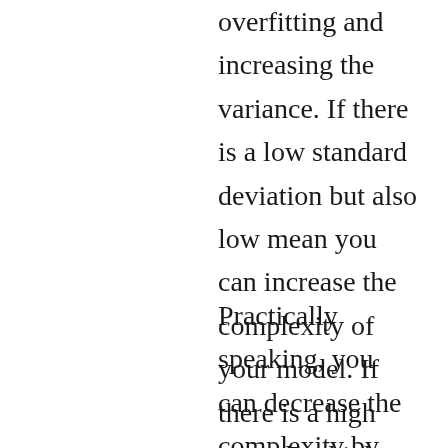overfitting and increasing the variance. If there is a low standard deviation but also low mean you can increase the complexity of your model. If there is a high mean but high standard deviation also it probably means that you've overfitted your model.
Practically speaking, you can decrease the complexity by doing things like reducing depth, increasing the minimum number of samples per leaf node or decreasing the number of random